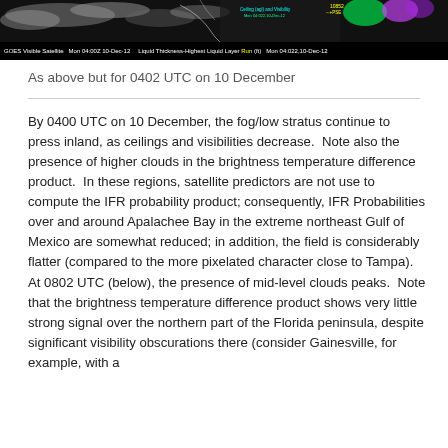[Figure (screenshot): GOES Visible Satellite and Ceiling/Visibility composite image dated Mon 04:00Z 10-Dec-12, with overlaid meteorological data including Liquid Thickness-Highest Liquid Layer in feet]
As above but for 0402 UTC on 10 December
By 0400 UTC on 10 December, the fog/low stratus continue to press inland, as ceilings and visibilities decrease.  Note also the presence of higher clouds in the brightness temperature difference product.  In these regions, satellite predictors are not use to compute the IFR probability product; consequently, IFR Probabilities over and around Apalachee Bay in the extreme northeast Gulf of Mexico are somewhat reduced; in addition, the field is considerably flatter (compared to the more pixelated character close to Tampa).  At 0802 UTC (below), the presence of mid-level clouds peaks.  Note that the brightness temperature difference product shows very little strong signal over the northern part of the Florida peninsula, despite significant visibility obscurations there (consider Gainesville, for example, with a